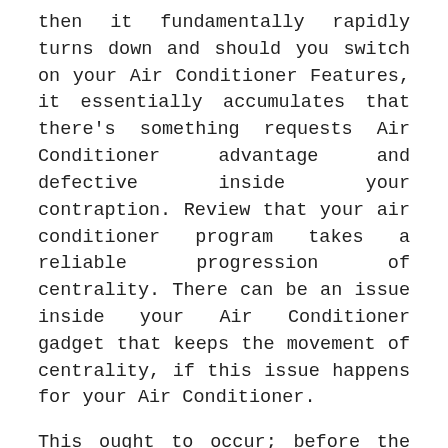then it fundamentally rapidly turns down and should you switch on your Air Conditioner Features, it essentially accumulates that there's something requests Air Conditioner advantage and defective inside your contraption. Review that your air conditioner program takes a reliable progression of centrality. There can be an issue inside your Air Conditioner gadget that keeps the movement of centrality, if this issue happens for your Air Conditioner.
This ought to occur; before the condition debilitates you need to require a gifted aide. At whatever point you see that your air conditioner is making remarkable sound nearby an awful smell. There is that an awful smell being released from your own air conditioner once in a while concludes that your air conditioner thing has been copied out inside by anything. The eccentric sound is verifiably a sign that